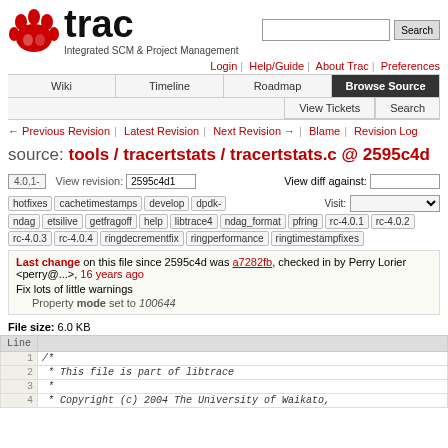[Figure (logo): Trac logo with red paw print and text 'trac - Integrated SCM & Project Management']
Login | Help/Guide | About Trac | Preferences
Wiki | Timeline | Roadmap | Browse Source | View Tickets | Search
← Previous Revision | Latest Revision | Next Revision → | Blame | Revision Log
source: tools / tracertstats / tracertstats.c @ 2595c4d
4.0.1-   View revision: 2595c4d1   View diff against:
hotfixes cachetimestamps develop dpdk-   Visit:
ndag etsilive getfragoff help libtrace4 ndag_format pfring rc-4.0.1 rc-4.0.2 rc-4.0.3 rc-4.0.4 ringdecrementfix ringperformance ringtimestampfixes
Last change on this file since 2595c4d was a7282fb, checked in by Perry Lorier <perry@...>, 16 years ago
Fix lots of little warnings
Property mode set to 100644
File size: 6.0 KB
| Line |  |
| --- | --- |
| 1 | /* |
| 2 |  * This file is part of libtrace |
| 3 |  * |
| 4 |  * Copyright (c) 2004 The University of Waikato, |